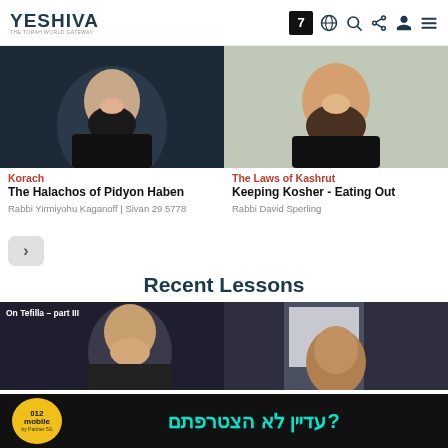YESHIVA — THE TORAH WORLD GATEWAY
[Figure (photo): Rabbi with dark beard, smiling, dark background]
[Figure (photo): Rabbi with fuller beard, smiling, stone wall background]
Korach
The Halachos of Pidyon Haben
Rabbi Yirmiyohu Kaganoff | Sivan 29 5778
The Laws of Kashrut
Keeping Kosher - Eating Out
Rabbi David Sperling
Recent Lessons
[Figure (photo): On Tefilla – part III, man in suit]
[Figure (photo): Rabbi, partial view]
[Figure (other): 012 Mobile advertisement banner: עדיין לא הצטרפתם? by Partner 5G]